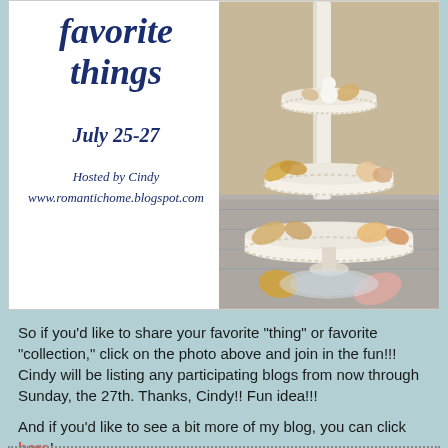favorite things
July 25-27
Hosted by Cindy
www.romantichome.blogspot.com
[Figure (photo): Three-tiered white stand decorated with seashells and starfish, with a white candle, placed on a patterned tablecloth]
So if you'd like to share your favorite "thing" or favorite "collection," click on the photo above and join in the fun!!! Cindy will be listing any participating blogs from now through Sunday, the 27th. Thanks, Cindy!! Fun idea!!!
And if you'd like to see a bit more of my blog, you can click here!
Donna